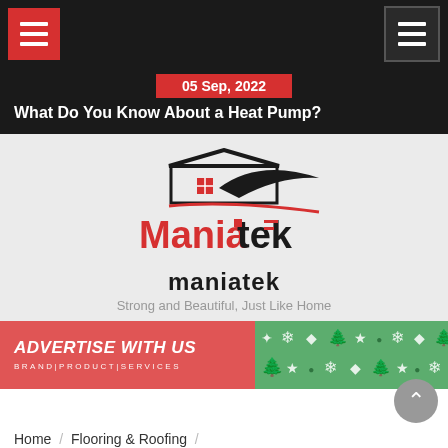Navigation bar with hamburger menus
05 Sep, 2022
What Do You Know About a Heat Pump?
[Figure (logo): Maniatek logo with house rooftop graphic and brand name in black and red]
maniatek
Strong and Beautiful, Just Like Home
[Figure (infographic): Advertisement banner: left side red with text ADVERTISE WITH US / BRAND|PRODUCT|SERVICES, right side green with decorative Christmas/snowflake icons]
Home  /  Flooring & Roofing  /
You Could Try the Latest Innovation in Cork Flooring